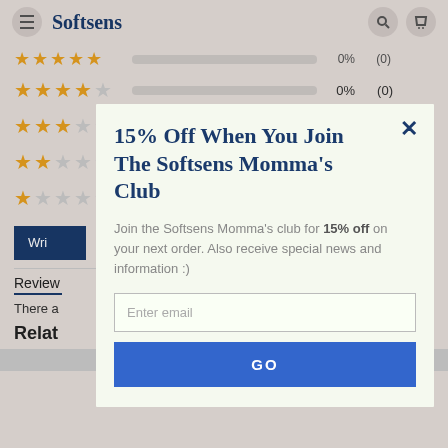Softsens
[Figure (other): Star rating bars showing 4-star, 3-star, 2-star, and 1-star rows each with 0% (0) ratings]
15% Off When You Join The Softsens Momma's Club
Join the Softsens Momma's club for 15% off on your next order. Also receive special news and information :)
Enter email
GO